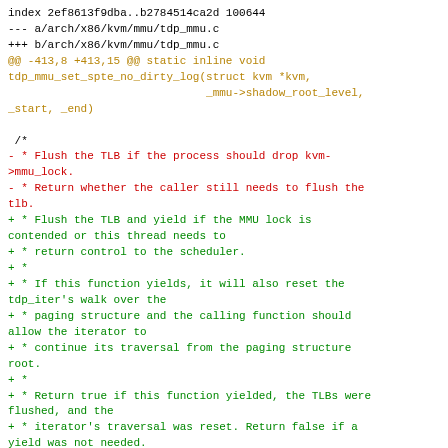index 2ef8613f9dba..b2784514ca2d 100644
--- a/arch/x86/kvm/mmu/tdp_mmu.c
+++ b/arch/x86/kvm/mmu/tdp_mmu.c
@@ -413,8 +413,15 @@ static inline void tdp_mmu_set_spte_no_dirty_log(struct kvm *kvm,
                               _mmu->shadow_root_level,
 _start, _end)

 /*
- * Flush the TLB if the process should drop kvm->mmu_lock.
- * Return whether the caller still needs to flush the tlb.
+ * Flush the TLB and yield if the MMU lock is contended or this thread needs to
+ * return control to the scheduler.
+ *
+ * If this function yields, it will also reset the tdp_iter's walk over the
+ * paging structure and the calling function should allow the iterator to
+ * continue its traversal from the paging structure root.
+ *
+ * Return true if this function yielded, the TLBs were flushed, and the
+ * iterator's traversal was reset. Return false if a yield was not needed.
  */
 static bool tdp_mmu_iter_flush_cond_resched(struct kvm *kvm,